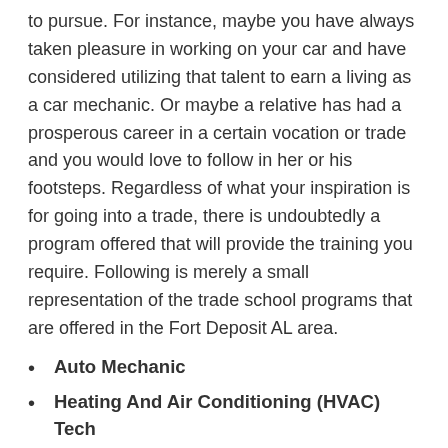to pursue. For instance, maybe you have always taken pleasure in working on your car and have considered utilizing that talent to earn a living as a car mechanic. Or maybe a relative has had a prosperous career in a certain vocation or trade and you would love to follow in her or his footsteps. Regardless of what your inspiration is for going into a trade, there is undoubtedly a program offered that will provide the training you require. Following is merely a small representation of the trade school programs that are offered in the Fort Deposit AL area.
Auto Mechanic
Heating And Air Conditioning (HVAC) Tech
Plumber
Electrician
Welder
Truck Driver
Aircraft Maintenance Tech